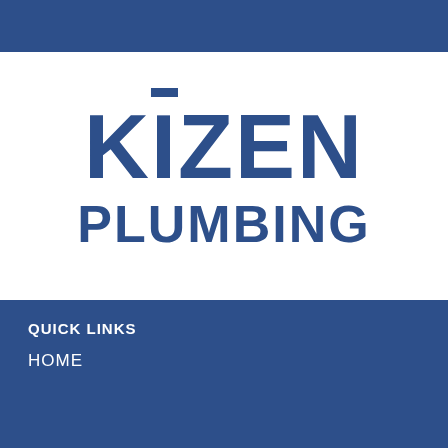[Figure (logo): Kizen Plumbing company logo with large bold text on white background, flanked by dark blue bars]
QUICK LINKS
HOME
+310 644 9757